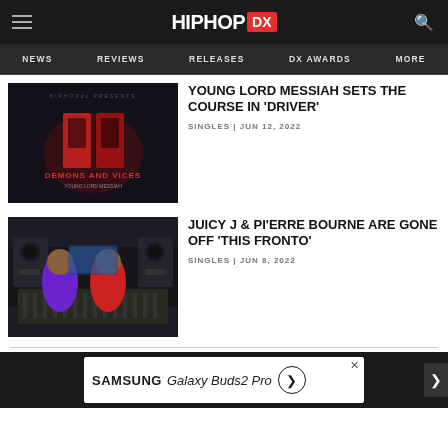HipHopDX — NEWS | REVIEWS | RELEASES | DX AWARDS | MORE
YOUNG LORD MESSIAH SETS THE COURSE IN 'DRIVER'
SINGLES | JUN 12, 2022
JUICY J & PI'ERRE BOURNE ARE GONE OFF 'THIS FRONTO'
SINGLES | JUN 8, 2022
[Figure (other): Advertisement banner: SAMSUNG Galaxy Buds2 Pro with circular arrow icon]